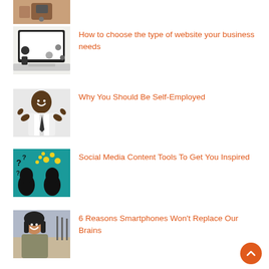[Figure (photo): Partial view of a person holding a smartphone, cropped at top]
[Figure (photo): Overhead view of a laptop with scattered items on white desk]
How to choose the type of website your business needs
[Figure (photo): Smiling man in white shirt and tie leaning back with hands behind head]
Why You Should Be Self-Employed
[Figure (illustration): Teal background with two silhouetted heads, question marks and light bulb icons]
Social Media Content Tools To Get You Inspired
[Figure (photo): Smiling Asian woman outdoors with streetlights in background]
6 Reasons Smartphones Won't Replace Our Brains